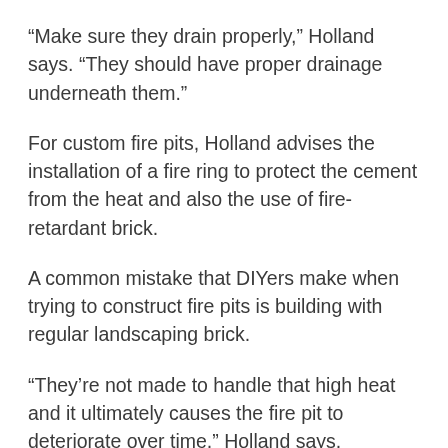“Make sure they drain properly,” Holland says. “They should have proper drainage underneath them.”
For custom fire pits, Holland advises the installation of a fire ring to protect the cement from the heat and also the use of fire-retardant brick.
A common mistake that DIYers make when trying to construct fire pits is building with regular landscaping brick.
“They’re not made to handle that high heat and it ultimately causes the fire pit to deteriorate over time,” Holland says.
If you are trying to sell fire pit installation as a